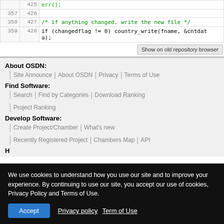|  |  | code |
| --- | --- | --- |
|  | 425 |     err(); |
| 357 | 426 |  |
| 358 | 427 |     /* if anything changed, write the new file */ |
| 359 | 428 |     if (changedflag != 0) country_write(fname, &cntdata); |
Show on old repository browser
About OSDN:
Site Announce | About OSDN | Privacy | Terms of Use
Find Software:
Search | Find by Categories | Download Ranking
Project Ranking
Develop Software:
Create Project/Chamber | What's new
Recently Registered Project | Chambers Map | API
We use cookies to understand how you use our site and to improve your experience. By continuing to use our site, you accept our use of cookies, Privacy Policy and Terms of Use.
Accept  Privacy policy  Term of Use